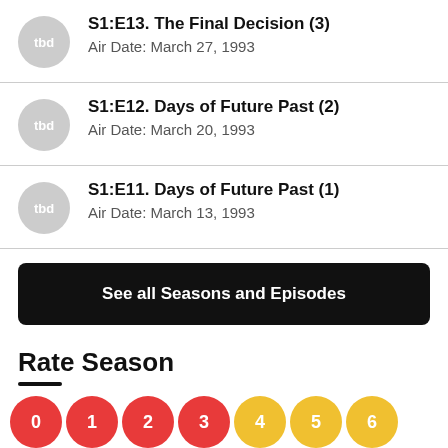S1:E13. The Final Decision (3)
Air Date: March 27, 1993
S1:E12. Days of Future Past (2)
Air Date: March 20, 1993
S1:E11. Days of Future Past (1)
Air Date: March 13, 1993
See all Seasons and Episodes
Rate Season
[Figure (other): Rating circles numbered 0 through 6, colored red (0-3) and yellow (4-6)]